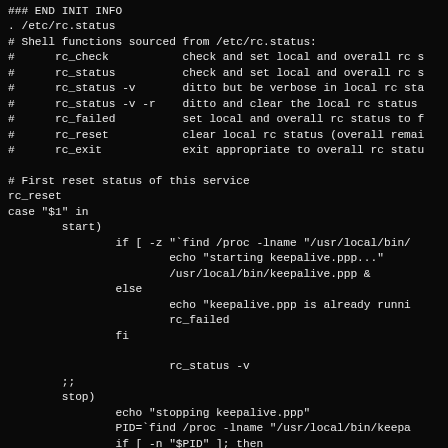### END INIT INFO
. /etc/rc.status
# Shell functions sourced from /etc/rc.status:
#      rc_check           check and set local and overall rc s
#      rc_status          check and set local and overall rc s
#      rc_status -v       ditto but be verbose in local rc sta
#      rc_status -v -r    ditto and clear the local rc status
#      rc_failed          set local and overall rc status to f
#      rc_reset           clear local rc status (overall remai
#      rc_exit            exit appropriate to overall rc statu

# First reset status of this service
rc_reset
case "$1" in
        start)
                if [ -z "`find /proc -lname "/usr/local/bin/
                        echo "starting keepalive.ppp..."
                        /usr/local/bin/keepalive.ppp &
                else
                        echo "keepalive.ppp is already runni
                        rc_failed
                fi

                        rc_status -v
        ;;
        stop)
                echo "stopping keepalive.ppp"
                PID=`find /proc -lname "/usr/local/bin/keepa
                if [ -n "$PID" ]; then
                        kill -9 $PID
                else
                        rc_failed
                fi